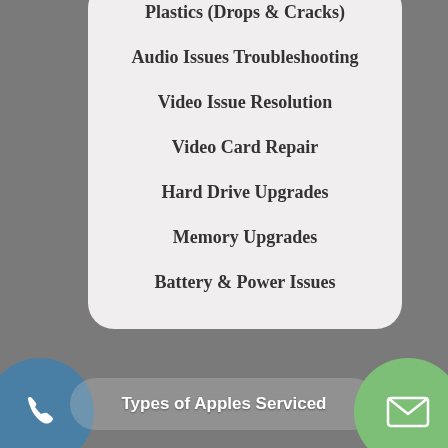Plastics (Drops & Cracks)
Audio Issues Troubleshooting
Video Issue Resolution
Video Card Repair
Hard Drive Upgrades
Memory Upgrades
Battery & Power Issues
Types of Apples Serviced